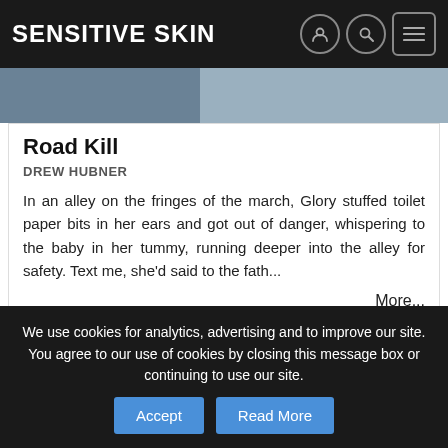Sensitive Skin
[Figure (photo): Partial image strip showing a tent/outdoor scene with 'STORY' label overlay]
Road Kill
DREW HUBNER
In an alley on the fringes of the march, Glory stuffed toilet paper bits in her ears and got out of danger, whispering to the baby in her tummy, running deeper into the alley for safety. Text me, she'd said to the fath...
More...
1  2  next »
We use cookies for analytics, advertising and to improve our site. You agree to our use of cookies by closing this message box or continuing to use our site.  Accept  Read More